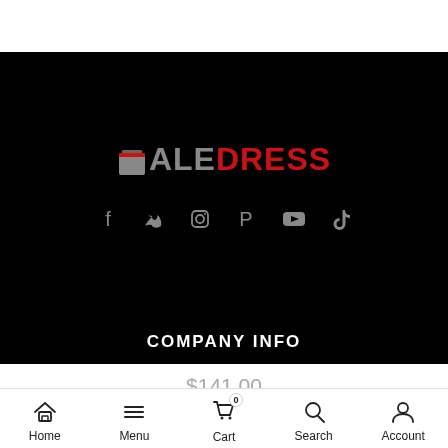[Figure (logo): SaleDress logo on black background with shopping bag icon, SALE in grey and DRESS in red]
[Figure (infographic): Social media icons row: Facebook, Twitter, Instagram, Pinterest, YouTube, TikTok on black background]
COMPANY INFO
$141.00
$3 / 47 Pcs
1
ADD TO CART
Home   Menu   Cart 0   Search   Account